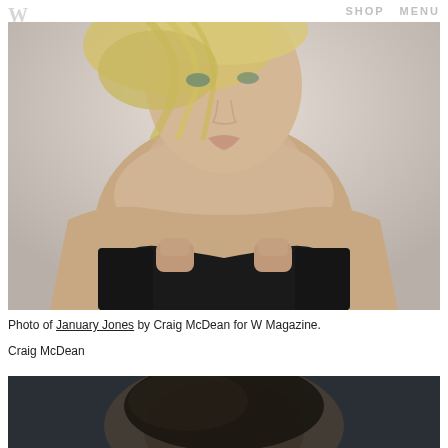W  SHOP  MENU
[Figure (photo): Fashion photograph of January Jones by Craig McDean for W Magazine. A blonde woman with short wind-swept hair and blue eyes, wearing a black strapless garment, hands raised in fists near her chest, against a pale background.]
Photo of January Jones by Craig McDean for W Magazine.
Craig McDean
[Figure (photo): Partial view of a second photograph showing a dark-haired subject against a dark background, cropped at the bottom of the page.]